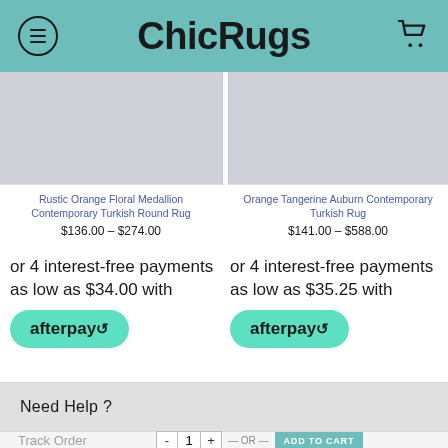ChicRugs
[Figure (screenshot): Product image placeholder for Rustic Orange Floral Medallion Contemporary Turkish Round Rug]
[Figure (screenshot): Product image placeholder for Orange Tangerine Auburn Contemporary Turkish Rug]
Rustic Orange Floral Medallion Contemporary Turkish Round Rug
$136.00 – $274.00
Orange Tangerine Auburn Contemporary Turkish Rug
$141.00 – $588.00
or 4 interest-free payments as low as $34.00 with afterpay
or 4 interest-free payments as low as $35.25 with afterpay
Need Help ?
Track Order
Initiate a Return